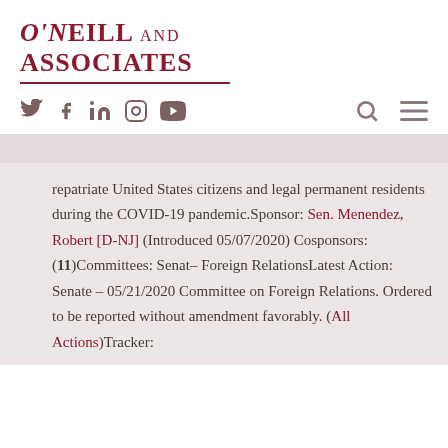O'Neill and Associates
[Figure (logo): Social media icons: Twitter, Facebook, LinkedIn, Instagram, YouTube; search icon and hamburger menu icon]
repatriate United States citizens and legal permanent residents during the COVID-19 pandemic.Sponsor: Sen. Menendez, Robert [D-NJ] (Introduced 05/07/2020) Cosponsors: (11)Committees: Senate – Foreign RelationsLatest Action: Senate – 05/21/2020 Committee on Foreign Relations. Ordered to be reported without amendment favorably. (All Actions)Tracker: